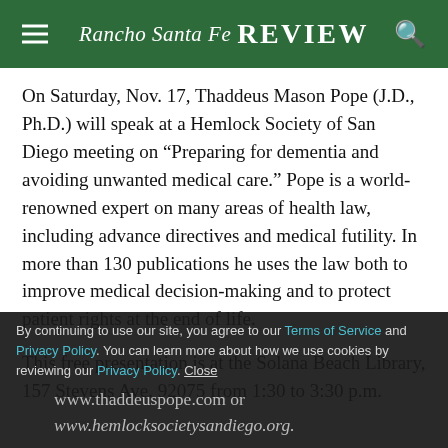Rancho Santa Fe Review
On Saturday, Nov. 17, Thaddeus Mason Pope (J.D., Ph.D.) will speak at a Hemlock Society of San Diego meeting on “Preparing for dementia and avoiding unwanted medical care.” Pope is a world-renowned expert on many areas of health law, including advance directives and medical futility. In more than 130 publications he uses the law both to improve medical decision-making and to protect patient rights at the end of life.
This free presentation is at the Solana Beach Library, 157 Stevens Ave. 92075 from 1:30 to 3:30 p.m.
By continuing to use our site, you agree to our Terms of Service and Privacy Policy. You can learn more about how we use cookies by reviewing our Privacy Policy. Close
www.thaddeuspope.com or www.hemlocksocietysandiego.org.